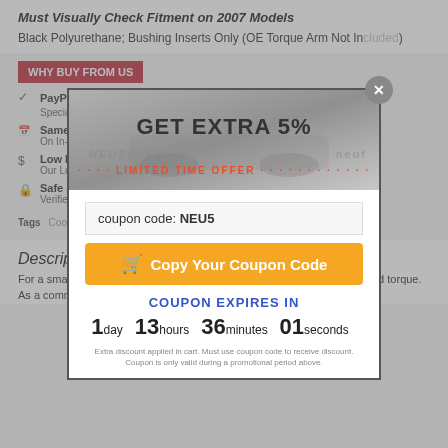Must Visually Check Fitment on 2007 Models
Black Polyurethane; Bushing Inserts Only (OE Torque Arm Not Included)
WHY BUY FROM US
PayPal Credit® Special Financing from PayPal®
Same-Day Shipping On In-Stock Parts Ordered Before 3pm MST
Low Prices Our Lowest Price Upfront
Safe & Secure Verified & Secured with an SSL
Tags  Cooper JCW Hardtop R58  Cooper S Hardtop R58  Cooper JCW Cli
[Figure (screenshot): Promotional modal popup offering GET EXTRA 5% discount with coupon code NEU5, Copy Your Coupon Code button, coupon expires countdown showing 1 day 13 hours 36 minutes 01 seconds]
Description
For a small power plant, the MINI Cooper S produces significant power and torque. As a commonplace, the OEM torque arm mount is not in rubber to ab